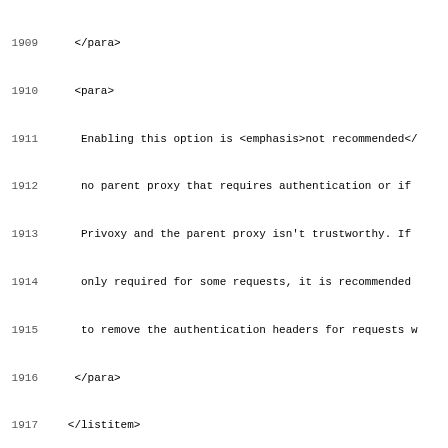Source code / XML markup lines 1909-1941
1909     </para>
1910     <para>
1911      Enabling this option is <emphasis>not recommended</
1912      no parent proxy that requires authentication or if
1913      Privoxy and the parent proxy isn't trustworthy. If
1914      only required for some requests, it is recommended
1915      to remove the authentication headers for requests w
1916     </para>
1917    </listitem>
1918   </varlistentry>
1919  </variablelist>
1920
1921  <![%config-file;[<literallayout>@@enable-proxy-authenti
1922  </sect3>
1923
1924  <!--    ~~~~~      New section      ~~~~~      -->
1925  <sect3 renderas="sect4" id="trusted-cgi-referer"><title
1926  <variablelist>
1927   <varlistentry>
1928    <term>Specifies:</term>
1929    <listitem>
1930     <para>
1931      A trusted website or webpage whose links can be fol
1932     </para>
1933    </listitem>
1934   </varlistentry>
1935   <varlistentry>
1936    <term>Type of value:</term>
1937    <listitem>
1938     <para>URL or URL prefix</para>
1939    </listitem>
1940   </varlistentry>
1941   <varlistentry>